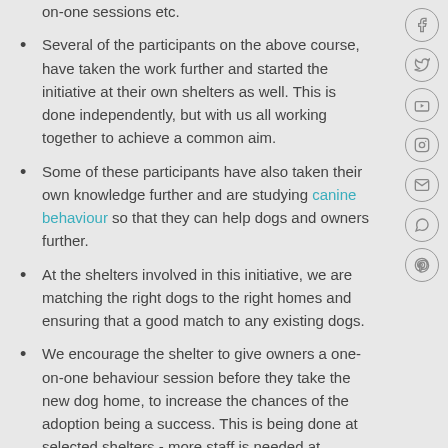on-one sessions etc.
Several of the participants on the above course, have taken the work further and started the initiative at their own shelters as well. This is done independently, but with us all working together to achieve a common aim.
Some of these participants have also taken their own knowledge further and are studying canine behaviour so that they can help dogs and owners further.
At the shelters involved in this initiative, we are matching the right dogs to the right homes and ensuring that a good match to any existing dogs.
We encourage the shelter to give owners a one-on-one behaviour session before they take the new dog home, to increase the chances of the adoption being a success. This is being done at selected shelters - more staff is needed at shelters to take this further.
We offer comprehensive notes to help owners via our website,